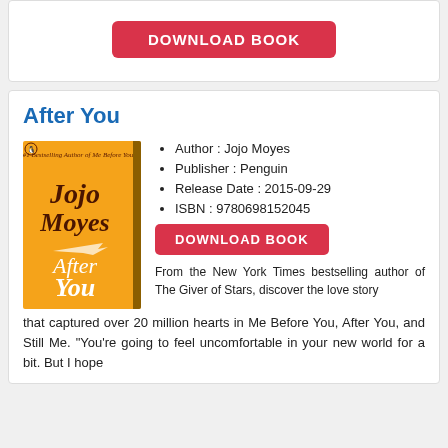[Figure (other): Download Book button (red rounded rectangle)]
After You
[Figure (illustration): Book cover of After You by Jojo Moyes - orange cover with author name and title]
Author : Jojo Moyes
Publisher : Penguin
Release Date : 2015-09-29
ISBN : 9780698152045
[Figure (other): Download Book button (red rounded rectangle)]
From the New York Times bestselling author of The Giver of Stars, discover the love story that captured over 20 million hearts in Me Before You, After You, and Still Me. "You're going to feel uncomfortable in your new world for a bit. But I hope